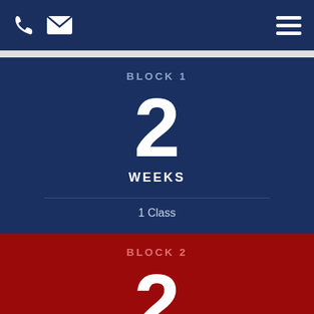Navigation bar with phone icon, email icon, and hamburger menu
BLOCK 1
2
WEEKS
1 Class
BLOCK 2
2